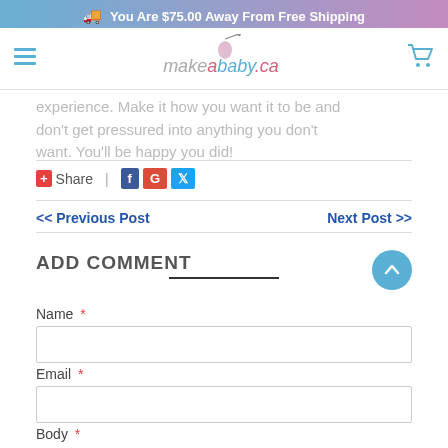You Are $75.00 Away From Free Shipping
makeababy.ca
experience. Make it how you want it to be and don't get pressured into anything you don't want. You'll be happy you did!
+ Share | Facebook Google Twitter
<< Previous Post    Next Post >>
ADD COMMENT
Name *
Email *
Body *